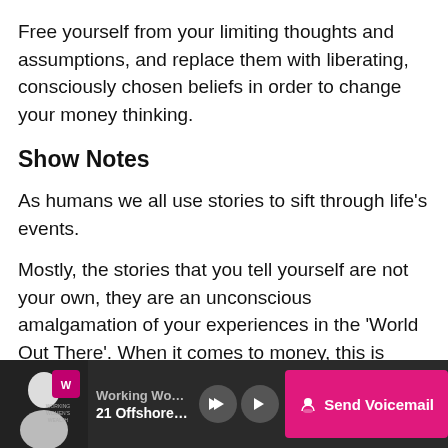Free yourself from your limiting thoughts and assumptions, and replace them with liberating, consciously chosen beliefs in order to change your money thinking.
Show Notes
As humans we all use stories to sift through life's events.
Mostly, the stories that you tell yourself are not your own, they are an unconscious amalgamation of your experiences in the 'World Out There'. When it comes to money, this is doubly true.
[4.33] The problem is that your thinking drives your behaviour, and most of your thinking is in fact stored
Working Women's Wealth | 21 Offshore Investing wi... | Send Voicemail